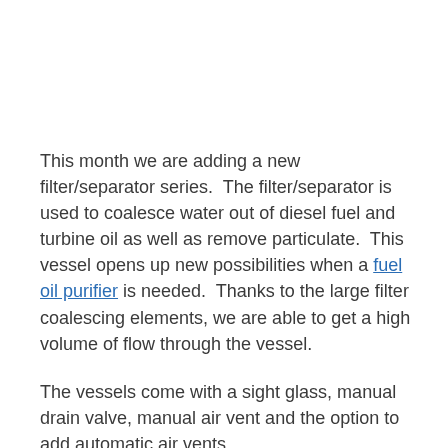This month we are adding a new filter/separator series.  The filter/separator is used to coalesce water out of diesel fuel and turbine oil as well as remove particulate.  This vessel opens up new possibilities when a fuel oil purifier is needed.  Thanks to the large filter coalescing elements, we are able to get a high volume of flow through the vessel.
The vessels come with a sight glass, manual drain valve, manual air vent and the option to add automatic air vents